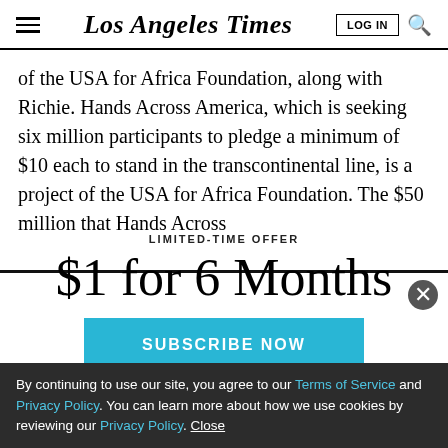Los Angeles Times
of the USA for Africa Foundation, along with Richie. Hands Across America, which is seeking six million participants to pledge a minimum of $10 each to stand in the transcontinental line, is a project of the USA for Africa Foundation. The $50 million that Hands Across
LIMITED-TIME OFFER
$1 for 6 Months
SUBSCRIBE NOW
By continuing to use our site, you agree to our Terms of Service and Privacy Policy. You can learn more about how we use cookies by reviewing our Privacy Policy. Close